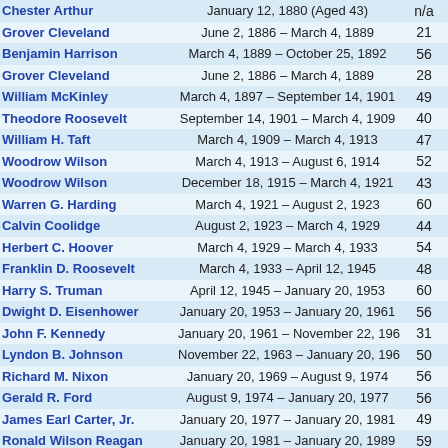| Name | Term Dates | Age |
| --- | --- | --- |
| Chester Arthur | January 12, 1880 (Aged 43) | n/a |
| Grover Cleveland | June 2, 1886 – March 4, 1889 | 21 |
| Benjamin Harrison | March 4, 1889 – October 25, 1892 | 56 |
| Grover Cleveland | June 2, 1886 – March 4, 1889 | 28 |
| William McKinley | March 4, 1897 – September 14, 1901 | 49 |
| Theodore Roosevelt | September 14, 1901 – March 4, 1909 | 40 |
| William H. Taft | March 4, 1909 – March 4, 1913 | 47 |
| Woodrow Wilson | March 4, 1913 – August 6, 1914 | 52 |
| Woodrow Wilson | December 18, 1915 – March 4, 1921 | 43 |
| Warren G. Harding | March 4, 1921 – August 2, 1923 | 60 |
| Calvin Coolidge | August 2, 1923 – March 4, 1929 | 44 |
| Herbert C. Hoover | March 4, 1929 – March 4, 1933 | 54 |
| Franklin D. Roosevelt | March 4, 1933 – April 12, 1945 | 48 |
| Harry S. Truman | April 12, 1945 – January 20, 1953 | 60 |
| Dwight D. Eisenhower | January 20, 1953 – January 20, 1961 | 56 |
| John F. Kennedy | January 20, 1961 – November 22, 1963 | 31 |
| Lyndon B. Johnson | November 22, 1963 – January 20, 1969 | 50 |
| Richard M. Nixon | January 20, 1969 – August 9, 1974 | 56 |
| Gerald R. Ford | August 9, 1974 – January 20, 1977 | 56 |
| James Earl Carter, Jr. | January 20, 1977 – January 20, 1981 | 49 |
| Ronald Wilson Reagan | January 20, 1981 – January 20, 1989 | 59 |
| George H. W. Bush | January 20, 1989 – January 20, 1993 | 63 |
| William Jefferson Clinton | January 20, 1993 – January 20, 2001 | 45 |